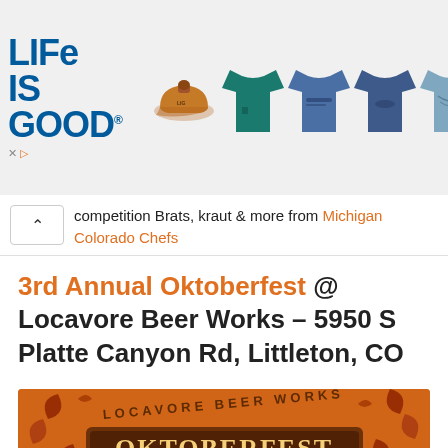[Figure (photo): Life is Good advertisement banner with logo on the left and product images (hat, t-shirts) on the right]
competition Brats, kraut & more from Michigan Colorado Chefs
3rd Annual Oktoberfest @ Locavore Beer Works – 5950 S Platte Canyon Rd, Littleton, CO
[Figure (photo): Locavore Beer Works Oktoberfest event banner: orange background with fall leaves, text reads LOCAVORE BEER WORKS OKTOBERFEST SAT 23 SEPT, 11AM-11PM]